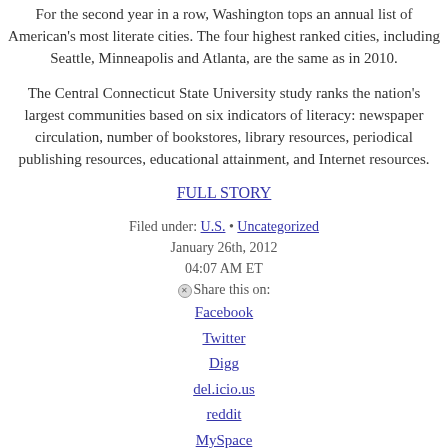For the second year in a row, Washington tops an annual list of American's most literate cities. The four highest ranked cities, including Seattle, Minneapolis and Atlanta, are the same as in 2010.
The Central Connecticut State University study ranks the nation's largest communities based on six indicators of literacy: newspaper circulation, number of bookstores, library resources, periodical publishing resources, educational attainment, and Internet resources.
FULL STORY
Filed under: U.S. • Uncategorized
January 26th, 2012
04:07 AM ET
Share this on:
Facebook
Twitter
Digg
del.icio.us
reddit
MySpace
StumbleUpon